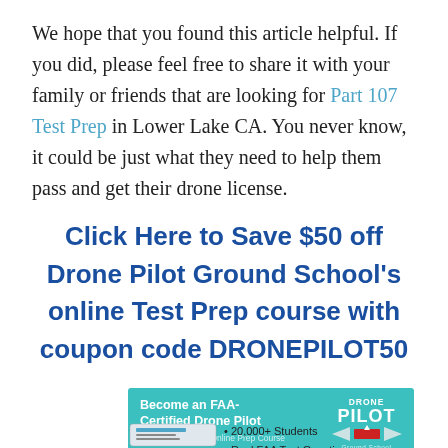We hope that you found this article helpful. If you did, please feel free to share it with your family or friends that are looking for Part 107 Test Prep in Lower Lake CA. You never know, it could be just what they need to help them pass and get their drone license.
Click Here to Save $50 off Drone Pilot Ground School's online Test Prep course with coupon code DRONEPILOT50
[Figure (infographic): Drone Pilot Ground School banner ad: teal background with text 'Become an FAA-Certified Drone Pilot With Our Part 107 Online Prep Course' on the left and the Drone Pilot Ground School logo (with wings) on the right.]
20,000+ Students
Real FAA Test Questions